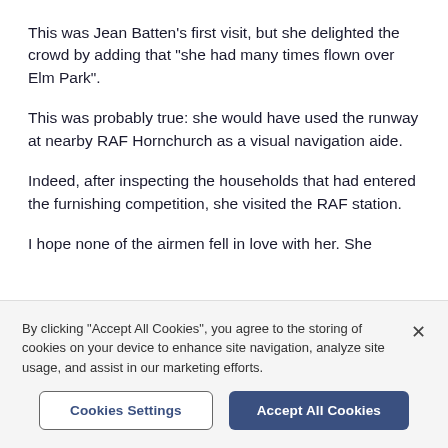This was Jean Batten's first visit, but she delighted the crowd by adding that "she had many times flown over Elm Park".
This was probably true: she would have used the runway at nearby RAF Hornchurch as a visual navigation aide.
Indeed, after inspecting the households that had entered the furnishing competition, she visited the RAF station.
I hope none of the airmen fell in love with her. She
By clicking "Accept All Cookies", you agree to the storing of cookies on your device to enhance site navigation, analyze site usage, and assist in our marketing efforts.